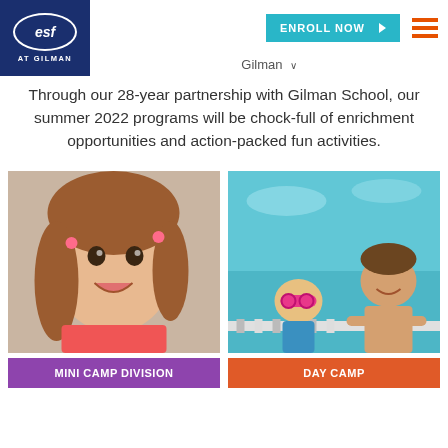[Figure (logo): ESF at Gilman logo — white text on navy blue oval with figure icons]
[Figure (other): Cyan 'ENROLL NOW' button with right-pointing arrow and orange hamburger menu icon]
Gilman ∨
Through our 28-year partnership with Gilman School, our summer 2022 programs will be chock-full of enrichment opportunities and action-packed fun activities.
[Figure (photo): Young smiling girl with brown pigtails wearing a pink/coral shirt]
[Figure (photo): Child with pink swim goggles at pool edge with adult swim instructor]
MINI CAMP DIVISION
DAY CAMP